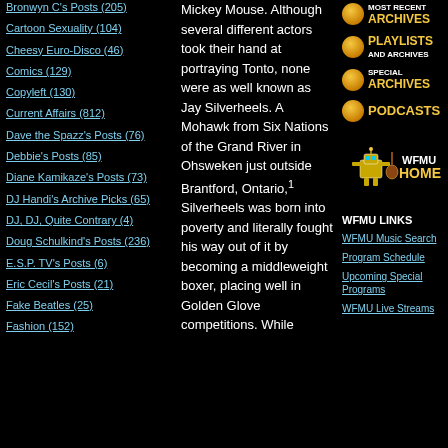Bronwyn C's Posts (205)
Cartoon Sexuality (104)
Cheesy Euro-Disco (46)
Comics (129)
Copyleft (130)
Current Affairs (812)
Dave the Spazz's Posts (76)
Debbie's Posts (85)
Diane Kamikaze's Posts (73)
DJ Handi's Archive Picks (65)
DJ, DJ, Quite Contrary (4)
Doug Schulkind's Posts (236)
E.S.P. TV's Posts (6)
Eric Cecil's Posts (21)
Fake Beatles (25)
Fashion (152)
Mickey Mouse. Although several different actors took their hand at portraying Tonto, none were as well known as Jay Silverheels. A Mohawk from Six Nations of the Grand River in Ohsweken just outside Brantford, Ontario,1 Silverheels was born into poverty and literally fought his way out of it by becoming a middleweight boxer, placing well in Golden Glove competitions. While
[Figure (infographic): MOST RECENT ARCHIVES button with orange orb]
[Figure (infographic): PLAYLISTS AND ARCHIVES button with orange orb]
[Figure (infographic): SPECIAL ARCHIVES button with orange orb]
[Figure (infographic): PODCASTS button with orange orb]
[Figure (logo): WFMU HOME logo with cartoon robot playing guitar]
WFMU LINKS
WFMU Music Search
Program Schedule
Upcoming Special Programs
WFMU Live Streams